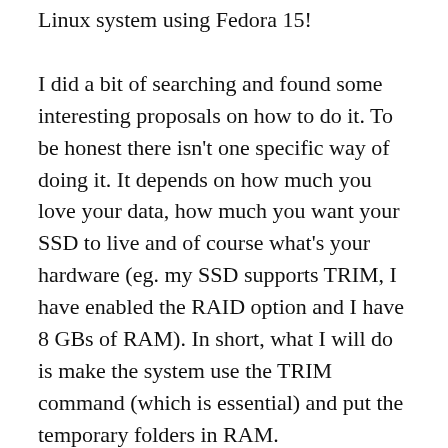Linux system using Fedora 15!
I did a bit of searching and found some interesting proposals on how to do it. To be honest there isn’t one specific way of doing it. It depends on how much you love your data, how much you want your SSD to live and of course what’s your hardware (eg. my SSD supports TRIM, I have enabled the RAID option and I have 8 GBs of RAM). In short, what I will do is make the system use the TRIM command (which is essential) and put the temporary folders in RAM.
tip: if you have other OSs installed and change to RAID mode (with one ssd it’s like AHCI), they might not work (they may consider it a raid…)